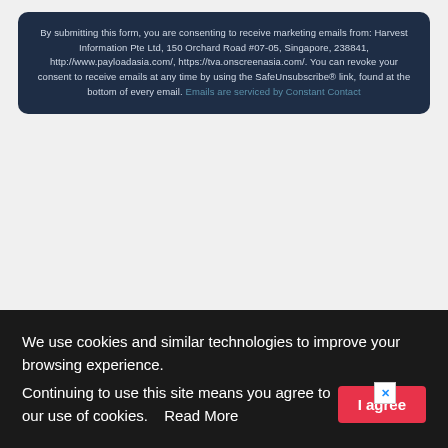By submitting this form, you are consenting to receive marketing emails from: Harvest Information Pte Ltd, 150 Orchard Road #07-05, Singapore, 238841, http://www.payloadasia.com/, https://tva.onscreenasia.com/. You can revoke your consent to receive emails at any time by using the SafeUnsubscribe® link, found at the bottom of every email. Emails are serviced by Constant Contact
[Figure (illustration): IATA World Cargo Symposium advertisement banner with bold yellow text on the left and a clock tower (Big Ben style) on the right against a blue sky background. A close button (X) appears in the top right corner.]
We use cookies and similar technologies to improve your browsing experience. Continuing to use this site means you agree to our use of cookies.   Read More